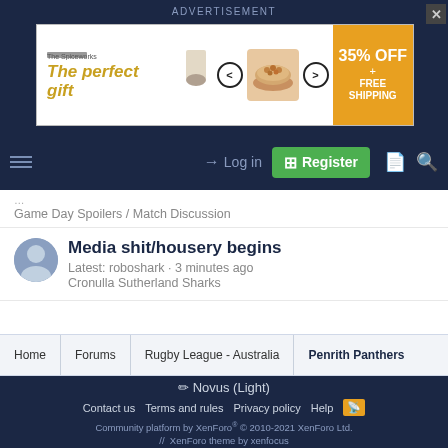ADVERTISEMENT
[Figure (other): Advertisement banner for The Spiceworks - The perfect gift, showing food bowl image with navigation arrows and 35% OFF + FREE SHIPPING offer in orange box]
Log in   Register
Game Day Spoilers / Match Discussion
Media shit/housery begins
Latest: roboshark · 3 minutes ago
Cronulla Sutherland Sharks
Home  Forums  Rugby League - Australia  Penrith Panthers
Novus (Light)
Contact us   Terms and rules   Privacy policy   Help
Community platform by XenForo® © 2010-2021 XenForo Ltd.
// XenForo theme by xenfocus